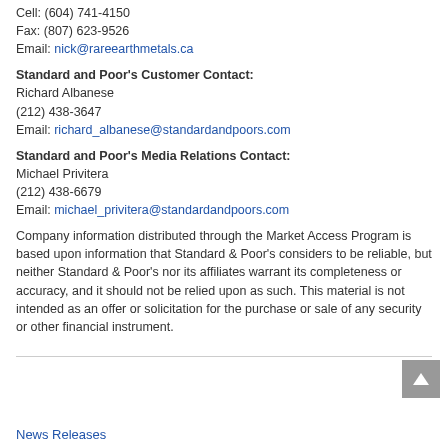Cell: (604) 741-4150
Fax: (807) 623-9526
Email: nick@rareearthmetals.ca
Standard and Poor's Customer Contact:
Richard Albanese
(212) 438-3647
Email: richard_albanese@standardandpoors.com
Standard and Poor's Media Relations Contact:
Michael Privitera
(212) 438-6679
Email: michael_privitera@standardandpoors.com
Company information distributed through the Market Access Program is based upon information that Standard & Poor's considers to be reliable, but neither Standard & Poor's nor its affiliates warrant its completeness or accuracy, and it should not be relied upon as such. This material is not intended as an offer or solicitation for the purchase or sale of any security or other financial instrument.
News Releases